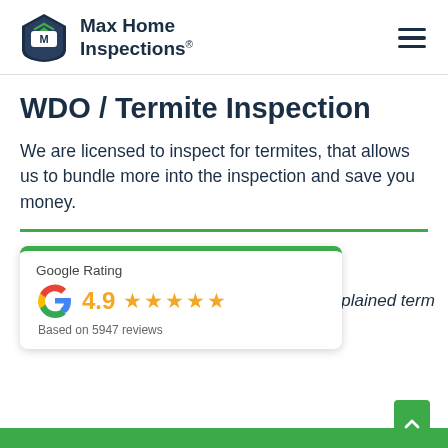Max Home Inspections®
WDO / Termite Inspection
We are licensed to inspect for termites, that allows us to bundle more into the inspection and save you money.
[Figure (other): Google Rating card showing 4.9 stars based on 5947 reviews with Google G logo and star icons]
...home was extremely thorough and he explained term...